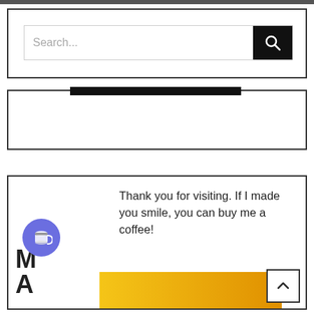[Figure (screenshot): Website UI screenshot showing a search bar with placeholder text 'Search...' and a black search button with magnifying glass icon, inside a bordered box.]
[Figure (screenshot): A bordered box with a black horizontal bar at the top center, representing a UI widget or ad placeholder.]
Thank you for visiting. If I made you smile, you can buy me a coffee!
[Figure (illustration): Partial view of a stylized illustration with letters 'MA' visible and a yellow/orange color block at the bottom, with a blue circular 'Buy Me a Coffee' button overlaid.]